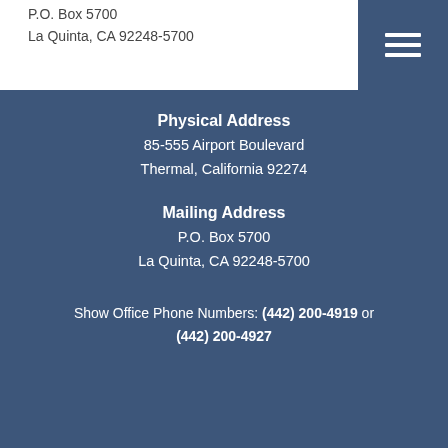P.O. Box 5700
La Quinta, CA 92248-5700
Physical Address
85-555 Airport Boulevard
Thermal, California 92274
Mailing Address
P.O. Box 5700
La Quinta, CA 92248-5700
Show Office Phone Numbers: (442) 200-4919 or
(442) 200-4927